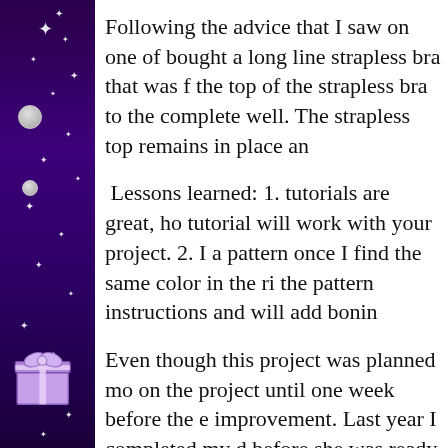[Figure (illustration): Purple decorative sidebar with sparkle/star effects, white pearl circles, and a purple gift box at the bottom]
Following the advice that I saw on one of bought a long line strapless bra that was f the top of the strapless bra to the complete well. The strapless top remains in place an
Lessons learned: 1. tutorials are great, ho tutorial will work with your project. 2. I a pattern once I find the same color in the ri the pattern instructions and will add bonin
Even though this project was planned mo on the project until one week before the e improvement. Last year I completed my d before she was ready to walk out the doo